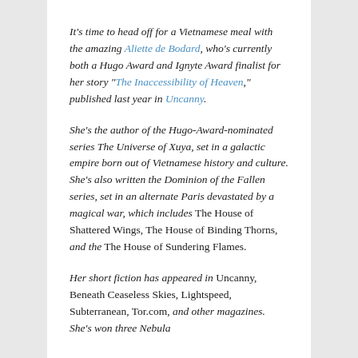It's time to head off for a Vietnamese meal with the amazing Aliette de Bodard, who's currently both a Hugo Award and Ignyte Award finalist for her story "The Inaccessibility of Heaven," published last year in Uncanny.
She's the author of the Hugo-Award-nominated series The Universe of Xuya, set in a galactic empire born out of Vietnamese history and culture. She's also written the Dominion of the Fallen series, set in an alternate Paris devastated by a magical war, which includes The House of Shattered Wings, The House of Binding Thorns, and the The House of Sundering Flames.
Her short fiction has appeared in Uncanny, Beneath Ceaseless Skies, Lightspeed, Subterranean, Tor.com, and other magazines. She's won three Nebula